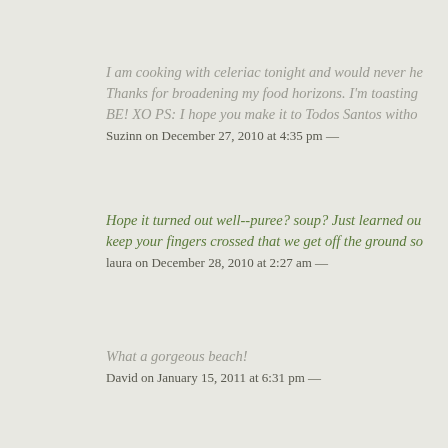I am cooking with celeriac tonight and would never he... Thanks for broadening my food horizons. I'm toasting... BE! XO PS: I hope you make it to Todos Santos witho...
Suzinn on December 27, 2010 at 4:35 pm —
Hope it turned out well--puree? soup? Just learned ou... keep your fingers crossed that we get off the ground so...
laura on December 28, 2010 at 2:27 am —
What a gorgeous beach!
David on January 15, 2011 at 6:31 pm —